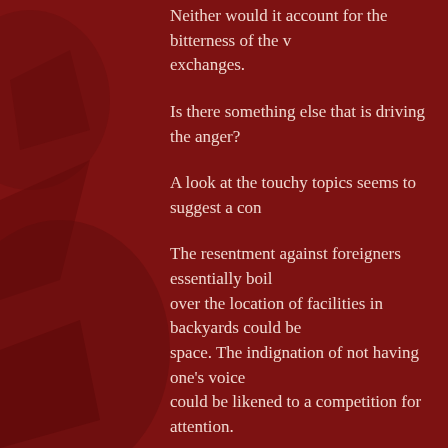Neither would it account for the bitterness of the v… exchanges.
Is there something else that is driving the anger?
A look at the touchy topics seems to suggest a con…
The resentment against foreigners essentially boil… over the location of facilities in backyards could be… space. The indignation of not having one's voice… could be likened to a competition for attention.
And the anger against fellow citizens sometimes… the train. Or a place in the queue.
Of course, competition isn't a new thing to Singapo…
Singaporeans have always had to compete for jobs… do they now have to compete with one another for… competition from abroad.